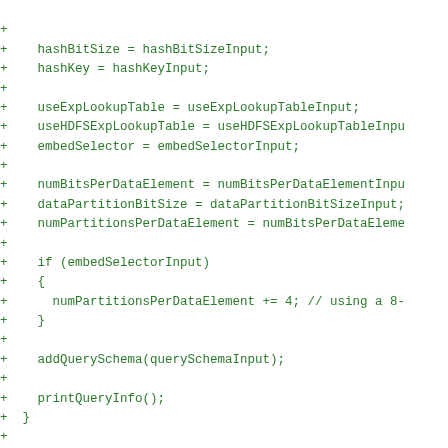Code diff showing added lines with + prefix in green monospace font